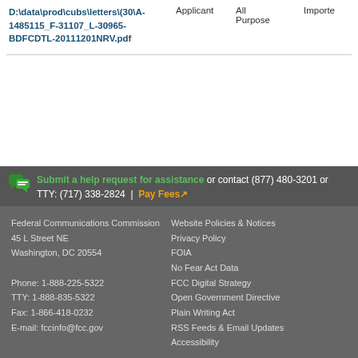| File | Applicant | All Purpose | Importe... |
| --- | --- | --- | --- |
| D:\data\prod\cubs\letters\(30\A-1485115_F-31107_L-30965-BDFCDTL-20111201NRV.pdf | Applicant | All Purpose |  |
Submit a help request for assistance or contact (877) 480-3201 or TTY: (717) 338-2824 | Pay Fees
Federal Communications Commission
45 L Street NE
Washington, DC 20554

Phone: 1-888-225-5322
TTY: 1-888-835-5322
Fax: 1-866-418-0232
E-mail: fccinfo@fcc.gov
Website Policies & Notices
Privacy Policy
FOIA
No Fear Act Data
FCC Digital Strategy
Open Government Directive
Plain Writing Act
RSS Feeds & Email Updates
Accessibility